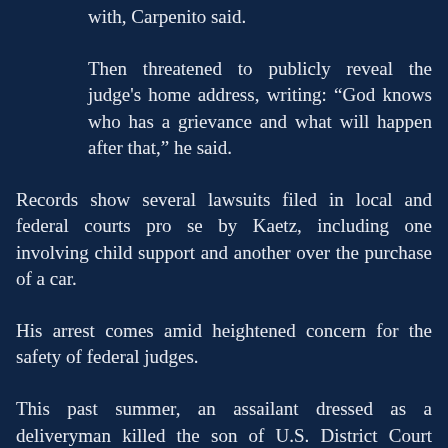with, Carpenito said.
Then threatened to publicly reveal the judge's home address, writing: “God knows who has a grievance and what will happen after that,” he said.
Records show several lawsuits filed in local and federal courts pro se by Kaetz, including one involving child support and another over the purchase of a car.
His arrest comes amid heightened concern for the safety of federal judges.
This past summer, an assailant dressed as a deliveryman killed the son of U.S. District Court Judge Ester Salas and wounded her husband at their Middlesex County home.
Kaetz was scheduled for a video-conferenced first appearance Monday in U.S. District Court in Newark on charges of making an interstate communication containing a threat to injure a person and with threatening to assault a… [continues]